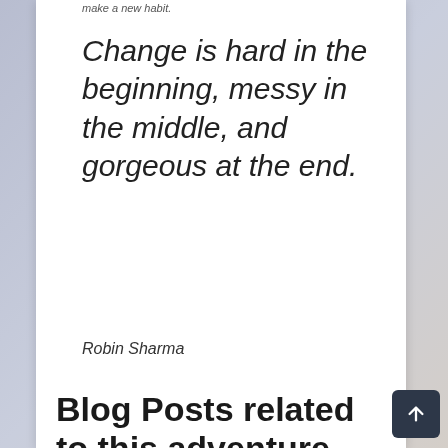make a new habit.
Change is hard in the beginning, messy in the middle, and gorgeous at the end.
Robin Sharma
Blog Posts related to this adventure